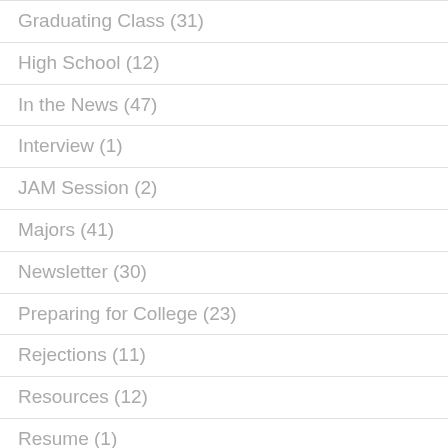Graduating Class (31)
High School (12)
In the News (47)
Interview (1)
JAM Session (2)
Majors (41)
Newsletter (30)
Preparing for College (23)
Rejections (11)
Resources (12)
Resume (1)
Ryan in the News (2)
Ryan's Blog (7)
SAT/ACT (18)
Seniors (35)